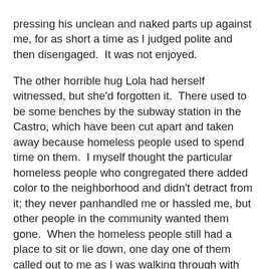pressing his unclean and naked parts up against me, for as short a time as I judged polite and then disengaged.  It was not enjoyed.

The other horrible hug Lola had herself witnessed, but she'd forgotten it.  There used to be some benches by the subway station in the Castro, which have been cut apart and taken away because homeless people used to spend time on them.  I myself thought the particular homeless people who congregated there added color to the neighborhood and didn't detract from it; they never panhandled me or hassled me, but other people in the community wanted them gone.  When the homeless people still had a place to sit or lie down, one day one of them called out to me as I was walking through with my family.  He asked me for a hug, saying he was unhappy and really, really needed a hug.  Without hesitation I hugged him, although in the back of my mind I was wondering whether he would stab me; he was definitely troubled.  After the hug, he called out to me sincerely, "Thank you! Thank you!"  The Sober Husband told me, "You were very brave.  I thought he was going to stab you", which called into question why he didn't intervene if he